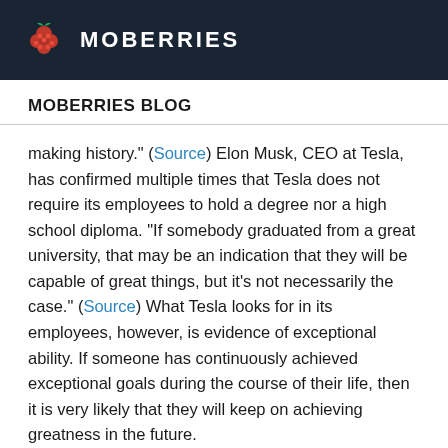MOBERRIES
MOBERRIES BLOG
making history.” (Source) Elon Musk, CEO at Tesla, has confirmed multiple times that Tesla does not require its employees to hold a degree nor a high school diploma. “If somebody graduated from a great university, that may be an indication that they will be capable of great things, but it’s not necessarily the case.” (Source) What Tesla looks for in its employees, however, is evidence of exceptional ability. If someone has continuously achieved exceptional goals during the course of their life, then it is very likely that they will keep on achieving greatness in the future.
Examples for this are Bill Gates or Steve Jobs – they showed the world that you can become a worldwide renowned innovator, even without finishing college. The